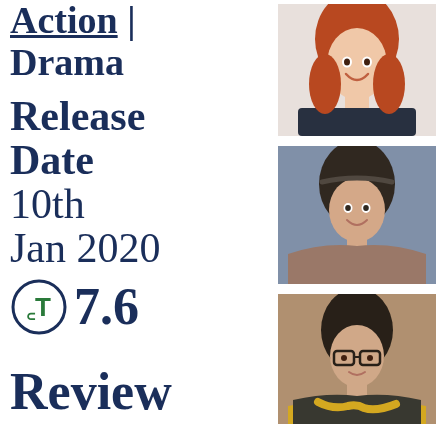Action | Drama
Release Date  10th Jan 2020
7.6
Review
[Figure (photo): Photo of a woman with red hair, smiling, wearing a black top]
[Figure (photo): Photo of a woman with dark hair and bangs, wearing an off-shoulder top]
[Figure (photo): Photo of a woman with dark hair wearing glasses and a yellow scarf]